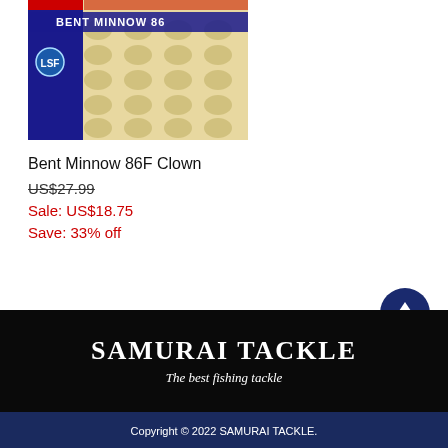[Figure (photo): Product photo of Bent Minnow 86F Clown fishing lure in blue packaging with LSF logo, showing lure arranged in a display tray]
Bent Minnow 86F Clown
US$27.99
Sale: US$18.75
Save: 33% off
SAMURAI TACKLE
The best fishing tackle
Copyright © 2022 SAMURAI TACKLE.